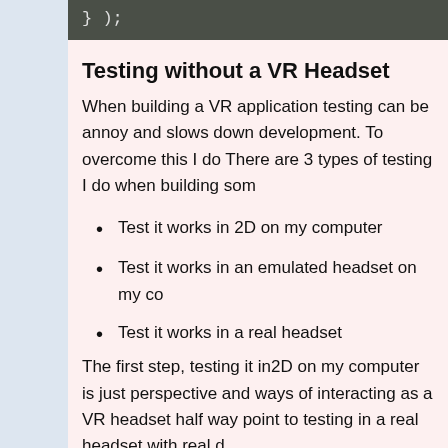} );
Testing without a VR Headset
When building a VR application testing can be annoying and slows down development. To overcome this I do... There are 3 types of testing I do when building som...
Test it works in 2D on my computer
Test it works in an emulated headset on my co...
Test it works in a real headset
The first step, testing it in2D on my computer is just... perspective and ways of interacting as a VR headset... half way point to testing in a real headset with real d...
To do this I use the [WebXR emulator extension,](https... incredibly useful for quickly testing how it would wo... We are happy to announce the release of our WebXR em...